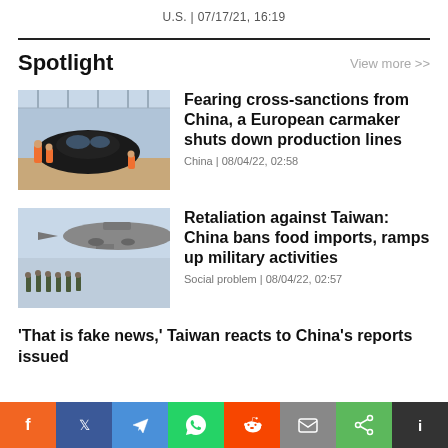U.S. | 07/17/21, 16:19
Spotlight
View more >>
[Figure (photo): Factory interior with car being assembled, workers in orange uniforms]
Fearing cross-sanctions from China, a European carmaker shuts down production lines
China | 08/04/22, 02:58
[Figure (photo): Soldiers running on airfield with large military aircraft in background]
Retaliation against Taiwan: China bans food imports, ramps up military activities
Social problem | 08/04/22, 02:57
‘That is fake news,’ Taiwan reacts to China’s reports issued